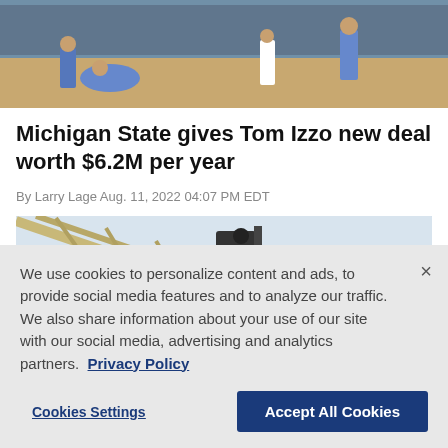[Figure (photo): Basketball players on a court, one player on the floor, crowd visible in background]
Michigan State gives Tom Izzo new deal worth $6.2M per year
By Larry Lage Aug. 11, 2022 04:07 PM EDT
[Figure (photo): Basketball arena backboard with State Farm logo and camera equipment visible against a light sky]
We use cookies to personalize content and ads, to provide social media features and to analyze our traffic. We also share information about your use of our site with our social media, advertising and analytics partners.  Privacy Policy
Cookies Settings   Accept All Cookies